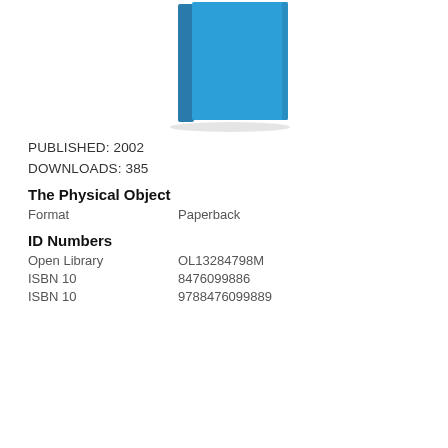[Figure (illustration): Blue book cover thumbnail shown in the upper center of the page]
PUBLISHED: 2002
DOWNLOADS: 385
The Physical Object
Format    Paperback
ID Numbers
Open Library    OL13284798M
ISBN 10    8476099886
ISBN 10    9788476099889